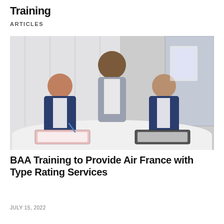Training
ARTICLES
[Figure (photo): Three men posing for a photo at a signing ceremony. Two men in navy suits are seated at a white table signing documents in binders, while a third man in a grey suit stands between them smiling. Office/training centre background.]
BAA Training to Provide Air France with Type Rating Services
JULY 15, 2022